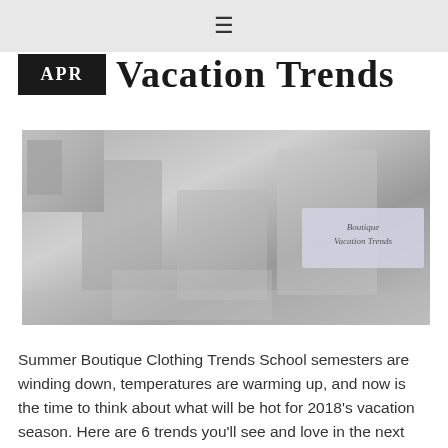☰
APR  Vacation Trends
[Figure (photo): A collage-style photo showing summer vacation/boutique clothing imagery with an overlay text reading 'Boutique Vacation Trends']
Summer Boutique Clothing Trends School semesters are winding down, temperatures are warming up, and now is the time to think about what will be hot for 2018's vacation season. Here are 6 trends you'll see and love in the next few months heading into summer. You can also take a look at our wholesale summer clothing collection on our website... 1. Fire Up a Little Island Romance